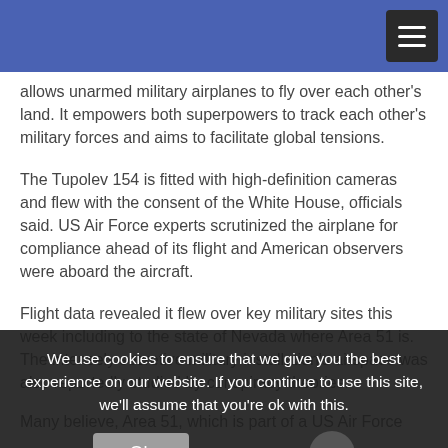[Blue navigation header bar with hamburger menu]
allows unarmed military airplanes to fly over each other's land. It empowers both superpowers to track each other's military forces and aims to facilitate global tensions.
The Tupolev 154 is fitted with high-definition cameras and flew with the consent of the White House, officials said. US Air Force experts scrutinized the airplane for compliance ahead of its flight and American observers were aboard the aircraft.
Flight data revealed it flew over key military sites this week including to the state of Nevada where Area 51 is. The intensely secretive military installation's airspace was also reportedly studied by conspiracy theories.
We use cookies to ensure that we give you the best experience on our website. If you continue to use this site, we'll assume that you're ok with this.
Many believe, Area 51, which is part of a US Air Force facility, has been used to test secret aircraft and technologies.